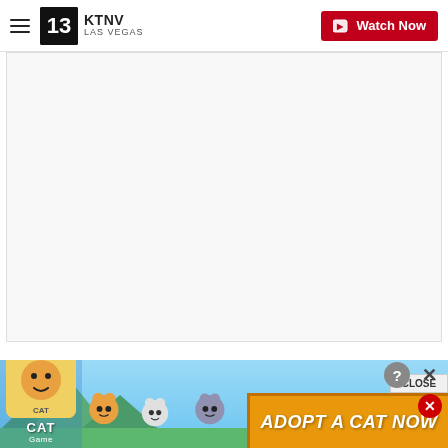KTNV LAS VEGAS | Watch Now
[Figure (screenshot): Embedded video player area, mostly white/blank content area]
In 2018, McGraw and Hill revealed what they think makes their marriage work. In an interview with
[Figure (photo): Cat Game advertisement banner showing cartoon cats and 'ADOPT A CAT NOW' button]